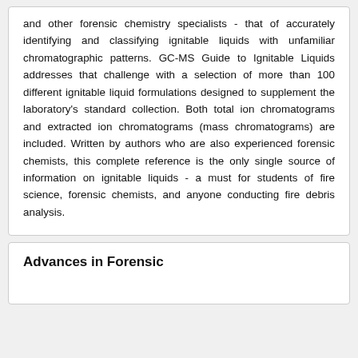and other forensic chemistry specialists - that of accurately identifying and classifying ignitable liquids with unfamiliar chromatographic patterns. GC-MS Guide to Ignitable Liquids addresses that challenge with a selection of more than 100 different ignitable liquid formulations designed to supplement the laboratory's standard collection. Both total ion chromatograms and extracted ion chromatograms (mass chromatograms) are included. Written by authors who are also experienced forensic chemists, this complete reference is the only single source of information on ignitable liquids - a must for students of fire science, forensic chemists, and anyone conducting fire debris analysis.
Advances in Forensic